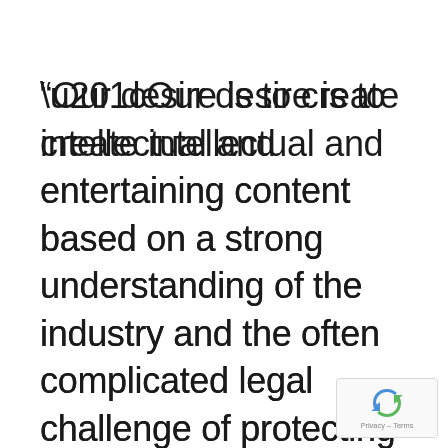“Our desire is to create intellectual and entertaining content based on a strong understanding of the industry and the often complicated legal challenge of protecting innovation, designs and brands.”
[Figure (logo): reCAPTCHA badge with blue/green arrow logo and Privacy - Terms text]